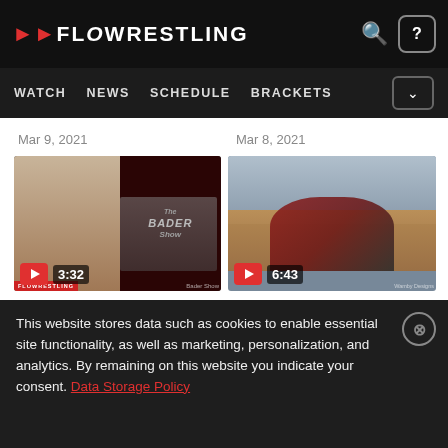FLOWRESTLING
WATCH  NEWS  SCHEDULE  BRACKETS
Mar 9, 2021
Mar 8, 2021
[Figure (screenshot): Video thumbnail showing a split screen with a person on the left and a studio broadcast (The Bader Show) on the right, with play button and duration 3:32]
[Figure (screenshot): Video thumbnail showing wrestling action with two wrestlers grappling, with play button and duration 6:43]
PRO Tariq Wilson's
PRO All Time Great NCAA
This website stores data such as cookies to enable essential site functionality, as well as marketing, personalization, and analytics. By remaining on this website you indicate your consent. Data Storage Policy